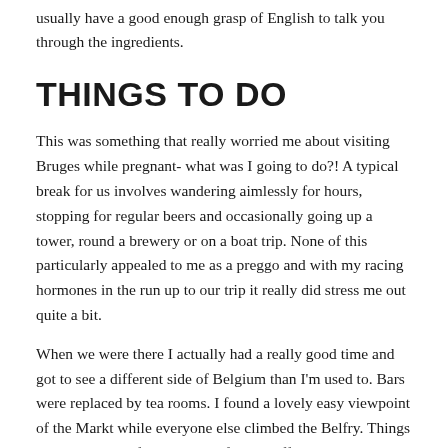usually have a good enough grasp of English to talk you through the ingredients.
THINGS TO DO
This was something that really worried me about visiting Bruges while pregnant- what was I going to do?! A typical break for us involves wandering aimlessly for hours, stopping for regular beers and occasionally going up a tower, round a brewery or on a boat trip. None of this particularly appealed to me as a preggo and with my racing hormones in the run up to our trip it really did stress me out quite a bit.
When we were there I actually had a really good time and got to see a different side of Belgium than I'm used to. Bars were replaced by tea rooms. I found a lovely easy viewpoint of the Markt while everyone else climbed the Belfry. Things in Bruges that I found were definitely off-limits: